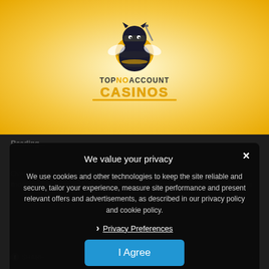[Figure (logo): Top No Account Casinos logo — ninja bee character above yellow 'TOPNOACCOUNT CASINOS' text]
Reading...
Over the past years, TopNoAccountCasinos.com has become one of the most well-known and trusted online casino news sit... keep up with their
We value your privacy
We use cookies and other technologies to keep the site reliable and secure, tailor your experience, measure site performance and present relevant offers and advertisements, as described in our privacy policy and cookie policy.
Privacy Preferences
I Agree
SHARE
TWEET